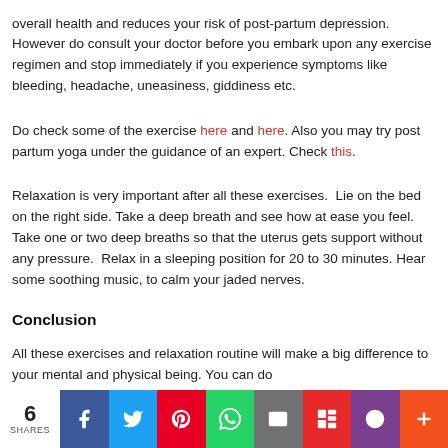overall health and reduces your risk of post-partum depression. However do consult your doctor before you embark upon any exercise regimen and stop immediately if you experience symptoms like bleeding, headache, uneasiness, giddiness etc.
Do check some of the exercise here and here. Also you may try post partum yoga under the guidance of an expert. Check this.
Relaxation is very important after all these exercises.  Lie on the bed on the right side. Take a deep breath and see how at ease you feel. Take one or two deep breaths so that the uterus gets support without any pressure.  Relax in a sleeping position for 20 to 30 minutes. Hear some soothing music, to calm your jaded nerves.
Conclusion
All these exercises and relaxation routine will make a big difference to your mental and physical being. You can do
6 SHARES | Facebook | Twitter | Pinterest | WhatsApp | Email | Flipboard | Pocket | More